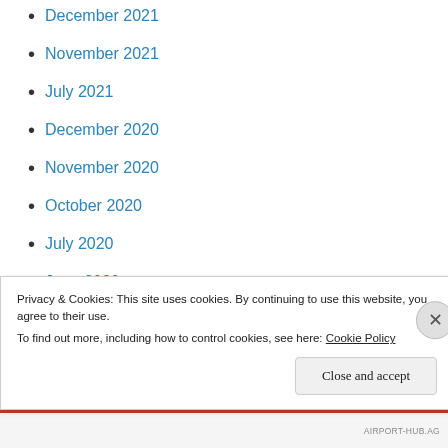December 2021
November 2021
July 2021
December 2020
November 2020
October 2020
July 2020
June 2020
July 2019
December 2018
May 2018
Privacy & Cookies: This site uses cookies. By continuing to use this website, you agree to their use. To find out more, including how to control cookies, see here: Cookie Policy
AIRPORT-HUB.AG